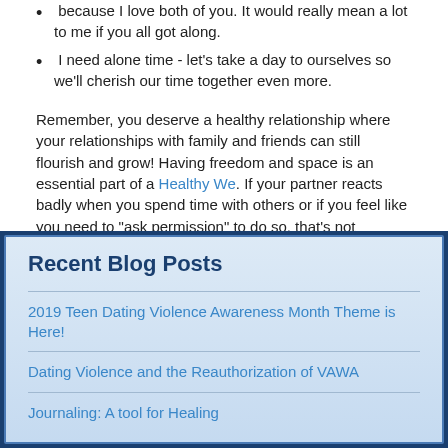because I love both of you. It would really mean a lot to me if you all got along.
I need alone time - let's take a day to ourselves so we'll cherish our time together even more.
Remember, you deserve a healthy relationship where your relationships with family and friends can still flourish and grow! Having freedom and space is an essential part of a Healthy We. If your partner reacts badly when you spend time with others or if you feel like you need to “ask permission” to do so, that's not respectful. If you notice any of these signs in your relationship and want to talk about it with a peer advocate or if you need help, text “loveis” to 22522.
Recent Blog Posts
2019 Teen Dating Violence Awareness Month Theme is Here!
Dating Violence and the Reauthorization of VAWA
Journaling: A tool for Healing